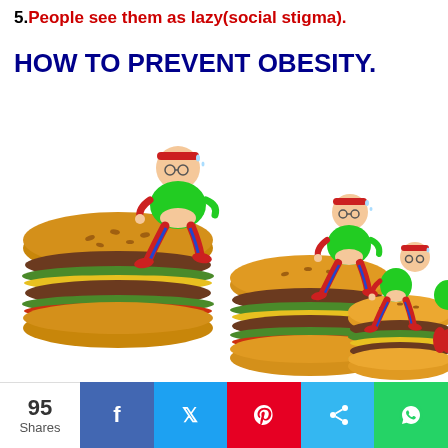5. People see them as lazy(social stigma).
HOW TO PREVENT OBESITY.
[Figure (illustration): Cartoon illustration showing a sequence of overweight characters in exercise clothing (green shirt, red pants, red headband) running atop stacked burgers of decreasing size/count, suggesting weight loss through exercise.]
95 Shares | Facebook | Twitter | Pinterest | Share | WhatsApp